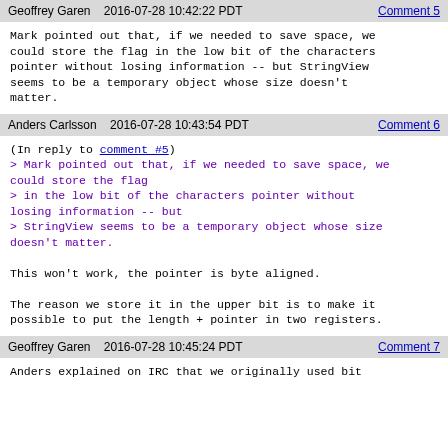Geoffrey Garen   2016-07-28 10:42:22 PDT   Comment 5
Mark pointed out that, if we needed to save space, we could store the flag in the low bit of the characters pointer without losing information -- but StringView seems to be a temporary object whose size doesn't matter.
Anders Carlsson   2016-07-28 10:43:54 PDT   Comment 6
(In reply to comment #5)
> Mark pointed out that, if we needed to save space, we could store the flag
> in the low bit of the characters pointer without losing information -- but
> StringView seems to be a temporary object whose size doesn't matter.

This won't work, the pointer is byte aligned.

The reason we store it in the upper bit is to make it possible to put the length + pointer in two registers.
Geoffrey Garen   2016-07-28 10:45:24 PDT   Comment 7
Anders explained on IRC that we originally used bit